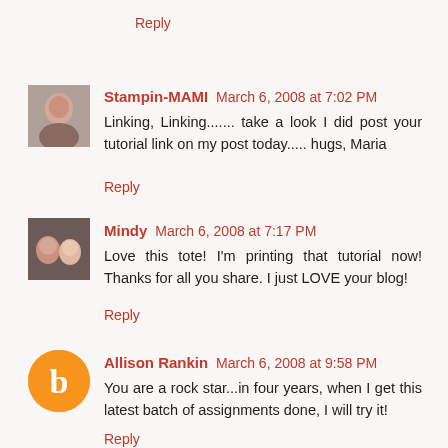Reply
[Figure (photo): Small avatar photo of a woman (Stampin-MAMI)]
Stampin-MAMI March 6, 2008 at 7:02 PM
Linking, Linking....... take a look I did post your tutorial link on my post today..... hugs, Maria
Reply
[Figure (photo): Small avatar photo showing two people (Mindy)]
Mindy March 6, 2008 at 7:17 PM
Love this tote! I'm printing that tutorial now! Thanks for all you share. I just LOVE your blog!
Reply
[Figure (logo): Blogger orange circle logo with B]
Allison Rankin March 6, 2008 at 9:58 PM
You are a rock star...in four years, when I get this latest batch of assignments done, I will try it!
Reply